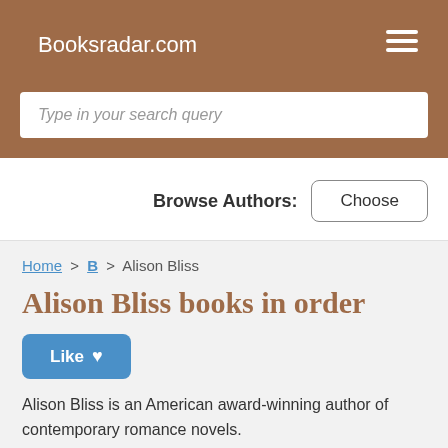Booksradar.com
Type in your search query
Browse Authors: Choose
Home > B > Alison Bliss
Alison Bliss books in order
Like
Alison Bliss is an American award-winning author of contemporary romance novels.